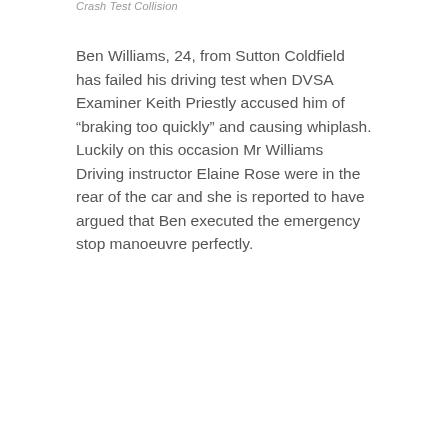Crash Test Collision
Ben Williams, 24, from Sutton Coldfield has failed his driving test when DVSA Examiner Keith Priestly accused him of “braking too quickly” and causing whiplash. Luckily on this occasion Mr Williams Driving instructor Elaine Rose were in the rear of the car and she is reported to have argued that Ben executed the emergency stop manoeuvre perfectly.